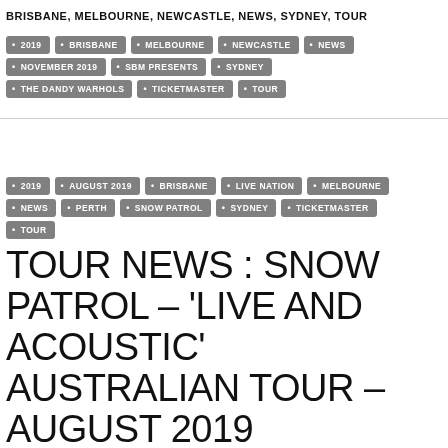BRISBANE, MELBOURNE, NEWCASTLE, NEWS, SYDNEY, TOUR
2019 • BRISBANE • MELBOURNE • NEWCASTLE • NEWS • NOVEMBER 2019 • SBM PRESENTS • SYDNEY • THE DANDY WARHOLS • TICKETMASTER • TOUR
2019 • AUGUST 2019 • BRISBANE • LIVE NATION • MELBOURNE • NEWS • PERTH • SNOW PATROL • SYDNEY • TICKETMASTER • TOUR
TOUR NEWS : SNOW PATROL – 'LIVE AND ACOUSTIC' AUSTRALIAN TOUR – AUGUST 2019